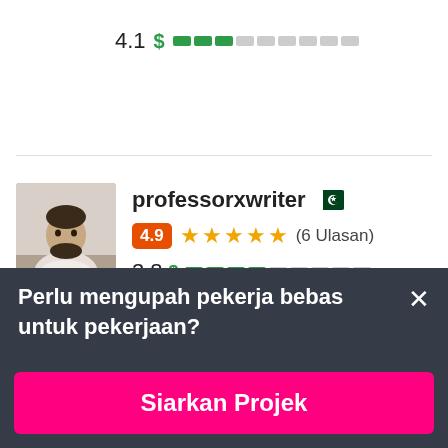4.1  $ [bar: 3/9 filled]
[Figure (photo): Profile photo of professorxwriter, a person seated at a desk]
professorxwriter [Pakistan flag]
4.9 ★★★★★ (6 Ulasan)
3.8  $ [bar: 4/9 filled]
Perlu mengupah pekerja bebas untuk pekerjaan?
Siarkan Projek